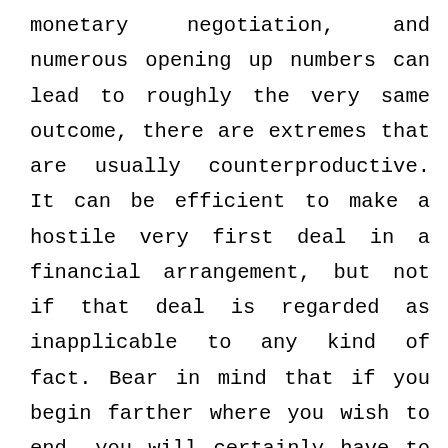monetary negotiation, and numerous opening up numbers can lead to roughly the very same outcome, there are extremes that are usually counterproductive. It can be efficient to make a hostile very first deal in a financial arrangement, but not if that deal is regarded as inapplicable to any kind of fact. Bear in mind that if you begin farther where you wish to end, you will certainly have to relocate larger dives to obtain a bargain. You will certainly likewise run the risk of never learning what the opposite would have done, since they walk away. If you are a plaintiff's guidance, bear in mind that